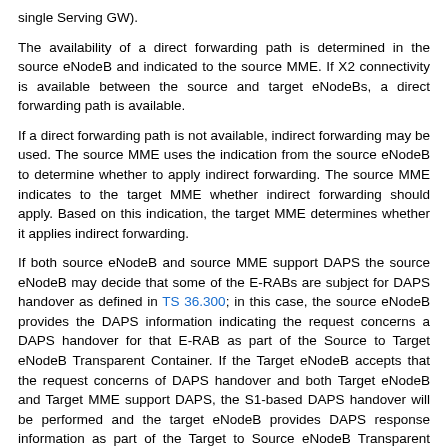single Serving GW).
The availability of a direct forwarding path is determined in the source eNodeB and indicated to the source MME. If X2 connectivity is available between the source and target eNodeBs, a direct forwarding path is available.
If a direct forwarding path is not available, indirect forwarding may be used. The source MME uses the indication from the source eNodeB to determine whether to apply indirect forwarding. The source MME indicates to the target MME whether indirect forwarding should apply. Based on this indication, the target MME determines whether it applies indirect forwarding.
If both source eNodeB and source MME support DAPS the source eNodeB may decide that some of the E-RABs are subject for DAPS handover as defined in TS 36.300; in this case, the source eNodeB provides the DAPS information indicating the request concerns a DAPS handover for that E-RAB as part of the Source to Target eNodeB Transparent Container. If the Target eNodeB accepts that the request concerns of DAPS handover and both Target eNodeB and Target MME support DAPS, the S1-based DAPS handover will be performed and the target eNodeB provides DAPS response information as part of the Target to Source eNodeB Transparent Container.